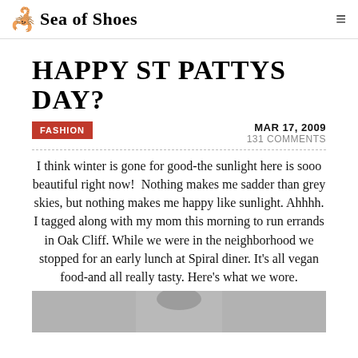Sea of Shoes
HAPPY ST PATTYS DAY?
FASHION
MAR 17, 2009
131 COMMENTS
I think winter is gone for good-the sunlight here is sooo beautiful right now!  Nothing makes me sadder than grey skies, but nothing makes me happy like sunlight. Ahhhh.
I tagged along with my mom this morning to run errands in Oak Cliff. While we were in the neighborhood we stopped for an early lunch at Spiral diner. It's all vegan food-and all really tasty. Here's what we wore.
[Figure (photo): Bottom portion of a photo showing a person, partially cropped]